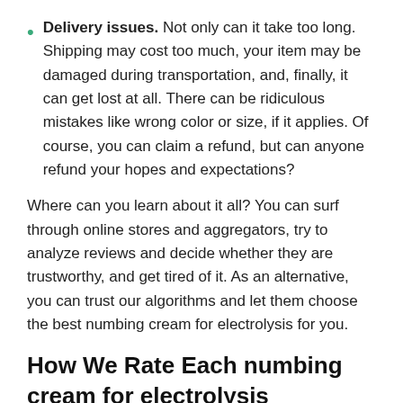Delivery issues. Not only can it take too long. Shipping may cost too much, your item may be damaged during transportation, and, finally, it can get lost at all. There can be ridiculous mistakes like wrong color or size, if it applies. Of course, you can claim a refund, but can anyone refund your hopes and expectations?
Where can you learn about it all? You can surf through online stores and aggregators, try to analyze reviews and decide whether they are trustworthy, and get tired of it. As an alternative, you can trust our algorithms and let them choose the best numbing cream for electrolysis for you.
How We Rate Each numbing cream for electrolysis
How we test each numbing cream for electrolysis is